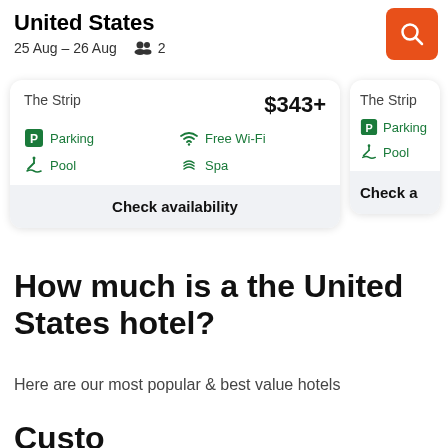United States
25 Aug – 26 Aug   👥 2
[Figure (screenshot): Orange search button with magnifying glass icon]
The Strip   $343+
Parking   Free Wi-Fi
Pool   Spa
Check availability
The Strip
Parking
Pool
Check a...
How much is a the United States hotel?
Here are our most popular & best value hotels
Custom...